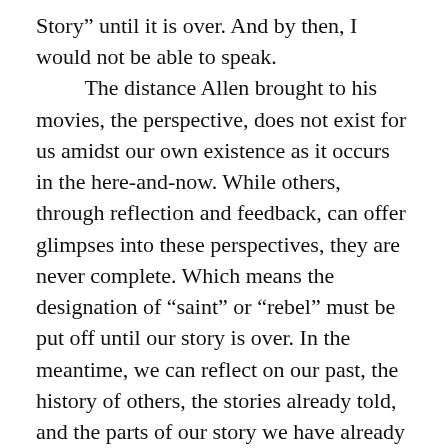Story" until it is over. And by then, I would not be able to speak.
    The distance Allen brought to his movies, the perspective, does not exist for us amidst our own existence as it occurs in the here-and-now. While others, through reflection and feedback, can offer glimpses into these perspectives, they are never complete. Which means the designation of “saint” or “rebel” must be put off until our story is over. In the meantime, we can reflect on our past, the history of others, the stories already told, and the parts of our story we have already seen unfold. But let us not be so bold as to imagine we can tell our complete story. Let us also not be so timid as to believe we cannot tell the parts of our story as they happen.
    I would leave you with this thought: Perspective is a requirement for wisdom and time is a requirement for perspective. As we allow our story to fulfill itself, do not miss the foreshadowing, the past struggles, and the joys